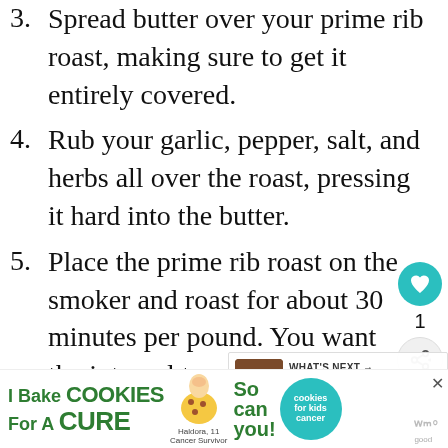3. Spread butter over your prime rib roast, making sure to get it entirely covered.
4. Rub your garlic, pepper, salt, and herbs all over the roast, pressing it hard into the butter.
5. Place the prime rib roast on the smoker and roast for about 30 minutes per pound. You want the internal temperature to be about 135 degrees.
6. Remove the prime rib roast from the
[Figure (screenshot): Social sidebar with heart/like button showing count 1 and share button]
[Figure (screenshot): WHAT'S NEXT overlay with thumbnail and text: Slow Roasted Prime Rib...]
[Figure (screenshot): Advertisement banner: I Bake Cookies For A Cure - Haldora, 11 Cancer Survivor - So can you! - cookies for kids cancer logo]